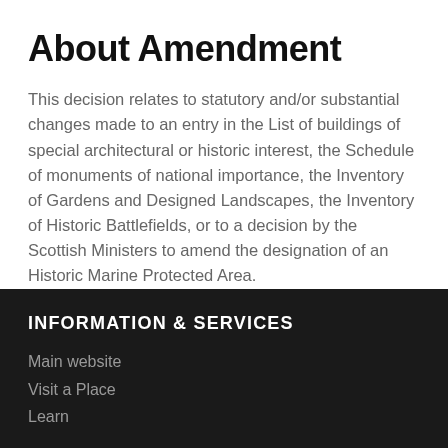About Amendment
This decision relates to statutory and/or substantial changes made to an entry in the List of buildings of special architectural or historic interest, the Schedule of monuments of national importance, the Inventory of Gardens and Designed Landscapes, the Inventory of Historic Battlefields, or to a decision by the Scottish Ministers to amend the designation of an Historic Marine Protected Area.
Find Out More...
INFORMATION & SERVICES
Main website
Visit a Place
Learn